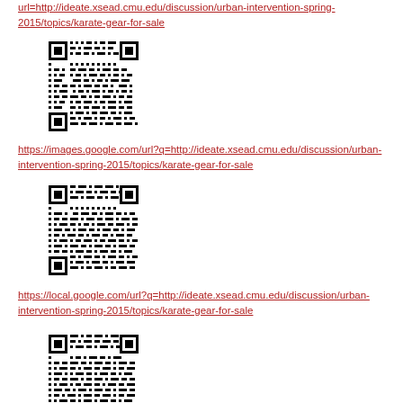url=http://ideate.xsead.cmu.edu/discussion/urban-intervention-spring-2015/topics/karate-gear-for-sale
[Figure (other): QR code linking to ideate.xsead.cmu.edu karate-gear-for-sale discussion]
https://images.google.com/url?q=http://ideate.xsead.cmu.edu/discussion/urban-intervention-spring-2015/topics/karate-gear-for-sale
[Figure (other): QR code linking to images.google.com URL for karate-gear-for-sale]
https://local.google.com/url?q=http://ideate.xsead.cmu.edu/discussion/urban-intervention-spring-2015/topics/karate-gear-for-sale
[Figure (other): QR code linking to local.google.com URL for karate-gear-for-sale]